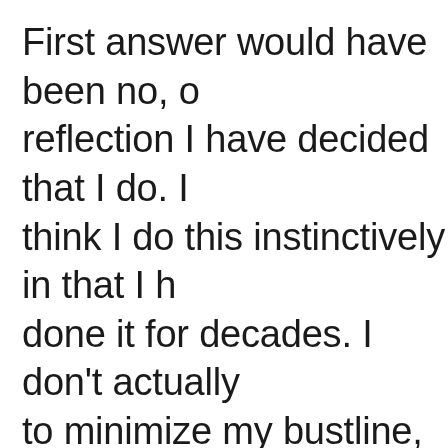First answer would have been no, on reflection I have decided that I do. I think I do this instinctively in that I have done it for decades. I don't actually try to minimize my bustline, but neither do I stick it out there in all its vuluptuous glory. No super form fitting tops of very deep necklines.
I will say its incrediblely difficult to purchase button up shirts and often